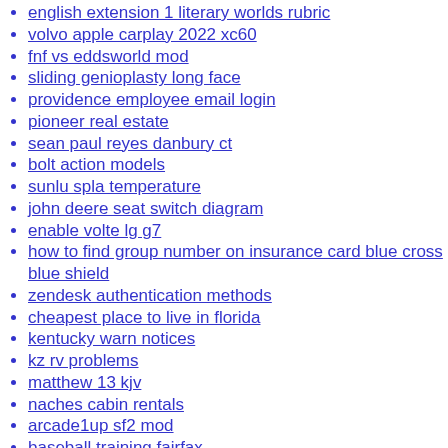english extension 1 literary worlds rubric
volvo apple carplay 2022 xc60
fnf vs eddsworld mod
sliding genioplasty long face
providence employee email login
pioneer real estate
sean paul reyes danbury ct
bolt action models
sunlu spla temperature
john deere seat switch diagram
enable volte lg g7
how to find group number on insurance card blue cross blue shield
zendesk authentication methods
cheapest place to live in florida
kentucky warn notices
kz rv problems
matthew 13 kjv
naches cabin rentals
arcade1up sf2 mod
baseball training fairfax
forever uk login
san antonio dog shelter
large cargo box for suv
hyundai click to buy uk